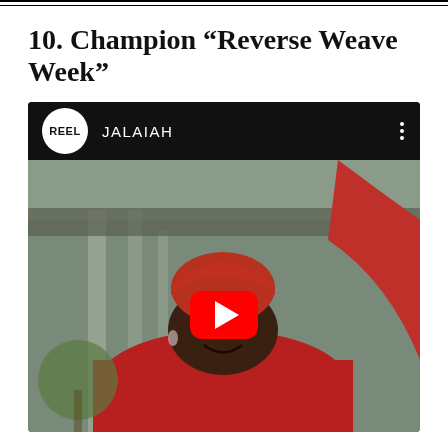10. Champion “Reverse Weave Week”
[Figure (screenshot): YouTube video thumbnail showing a woman in a red outfit with red head wrap, raising her arm, with a YouTube play button overlay. The video header bar shows the REEL logo and channel name JALAIAH.]